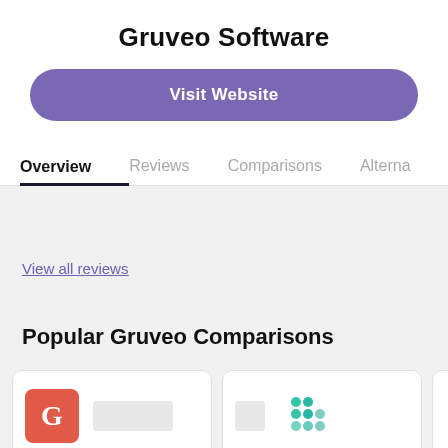Gruveo Software
Visit Website
Overview
Reviews
Comparisons
Alternatives
View all reviews
Popular Gruveo Comparisons
[Figure (logo): Red square logo with white letter G]
[Figure (logo): Teal/green Slack-style dot grid logo]